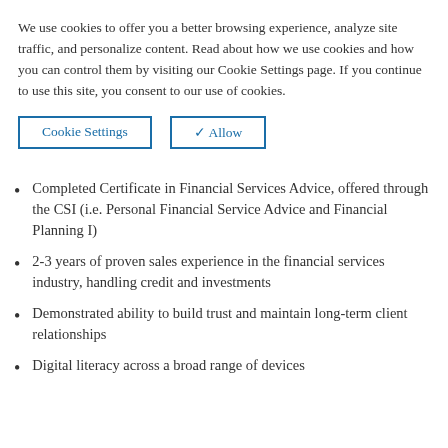We use cookies to offer you a better browsing experience, analyze site traffic, and personalize content. Read about how we use cookies and how you can control them by visiting our Cookie Settings page. If you continue to use this site, you consent to our use of cookies.
Cookie Settings
✓ Allow
Completed Certificate in Financial Services Advice, offered through the CSI (i.e. Personal Financial Service Advice and Financial Planning I)
2-3 years of proven sales experience in the financial services industry, handling credit and investments
Demonstrated ability to build trust and maintain long-term client relationships
Digital literacy across a broad range of devices